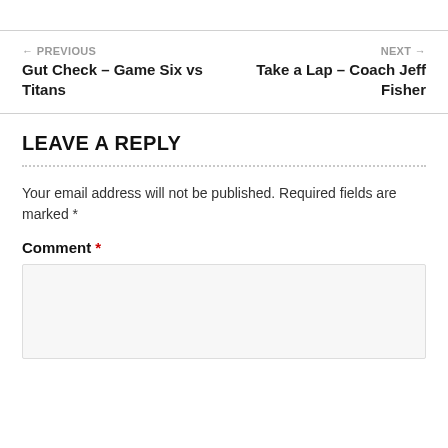← PREVIOUS
Gut Check – Game Six vs Titans
NEXT →
Take a Lap – Coach Jeff Fisher
LEAVE A REPLY
Your email address will not be published. Required fields are marked *
Comment *